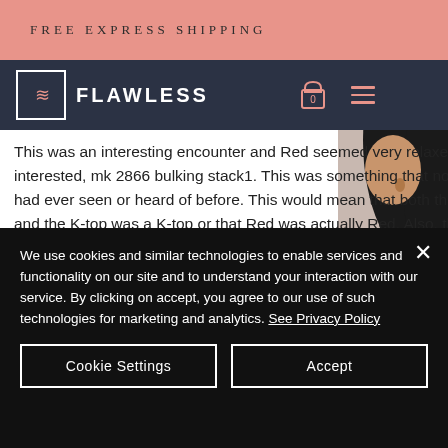FREE EXPRESS SHIPPING
ow and e this, es."
[Figure (screenshot): Flawless brand logo and navigation bar with dark background, showing logo icon, FLAWLESS text, shopping cart icon with 0 badge, and hamburger menu]
This was an interesting encounter and Red seemed very relaxed and interested, mk 2866 bulking stack1. This was something that no one had ever seen or heard of before. This would mean that both the man and the K-top was a K-top or that Red was actually Red. Also, the man in the blue K-top
[Figure (photo): Woman with long dark wavy black hair, partial face visible on right side]
We use cookies and similar technologies to enable services and functionality on our site and to understand your interaction with our service. By clicking on accept, you agree to our use of such technologies for marketing and analytics. See Privacy Policy
Cookie Settings
Accept